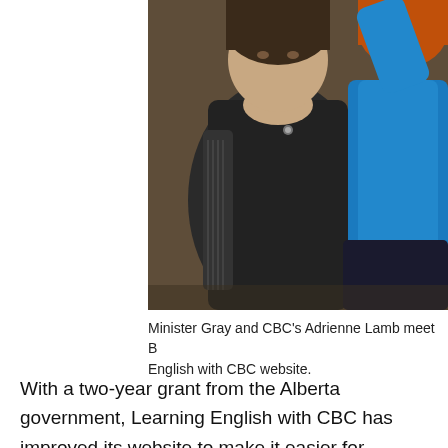[Figure (photo): Two people posing together: one wearing a dark textured sweater, the other in a bright blue outfit with red hair visible. Photo appears to be taken indoors.]
Minister Gray and CBC's Adrienne Lamb meet B... English with CBC website.
With a two-year grant from the Alberta government, Learning English with CBC has improved its website to make it easier for newcomers to participate in its English language